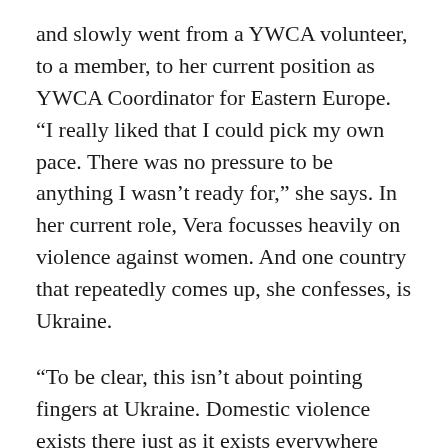and slowly went from a YWCA volunteer, to a member, to her current position as YWCA Coordinator for Eastern Europe. “I really liked that I could pick my own pace. There was no pressure to be anything I wasn’t ready for,” she says. In her current role, Vera focusses heavily on violence against women. And one country that repeatedly comes up, she confesses, is Ukraine.
“To be clear, this isn’t about pointing fingers at Ukraine. Domestic violence exists there just as it exists everywhere else,” she clarifies. “The issue is that the conflict there has exacerbated certain dynamics, while making state support or resources much harder to access.”
Indeed, different organisations have noted that the